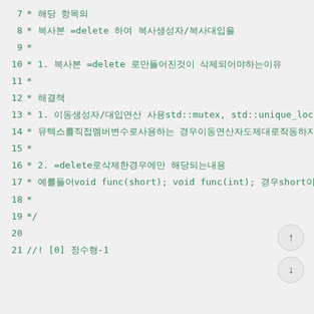7  * 해당 항목의
8  *      복사본 =delete 하여 복사생성자/복사대입을
9  *
10  * 1. 복사본 =delete 로만들어진것이 삭제되어야하는이유
11  *
12  * 해결책
13  * 1. 이동생성자/대입연산 사용std::mutex, std::unique_lock등
14  *    뮤텍스를직접멤버변수로사용하는 경우이동연산자도제대로작동하지않을수있으므로
15  *
16  * 2. =delete로삭제한경우에만 해당되는내용
17  *    예를들어void func(short); void func(int); 경우short이면 자동으로int, 라면 void func
18  *
19  */
20
21  //! [0]  정수형-1